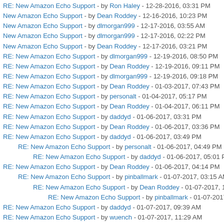New Amazon Echo Support - by Dean Roddey - 12-16-2016, 10:23 PM
New Amazon Echo Support - by dlmorgan999 - 12-17-2016, 03:55 AM
New Amazon Echo Support - by dlmorgan999 - 12-17-2016, 02:22 PM
New Amazon Echo Support - by Dean Roddey - 12-17-2016, 03:21 PM
RE: New Amazon Echo Support - by dlmorgan999 - 12-19-2016, 08:50 PM
RE: New Amazon Echo Support - by Dean Roddey - 12-19-2016, 09:11 PM
RE: New Amazon Echo Support - by dlmorgan999 - 12-19-2016, 09:18 PM
RE: New Amazon Echo Support - by Dean Roddey - 01-03-2017, 07:43 PM
RE: New Amazon Echo Support - by personalt - 01-04-2017, 05:17 PM
RE: New Amazon Echo Support - by Dean Roddey - 01-04-2017, 06:11 PM
RE: New Amazon Echo Support - by daddyd - 01-06-2017, 03:31 PM
RE: New Amazon Echo Support - by Dean Roddey - 01-06-2017, 03:36 PM
RE: New Amazon Echo Support - by daddyd - 01-06-2017, 03:49 PM
RE: New Amazon Echo Support - by personalt - 01-06-2017, 04:49 PM
RE: New Amazon Echo Support - by daddyd - 01-06-2017, 05:01 PM
RE: New Amazon Echo Support - by Dean Roddey - 01-06-2017, 04:14 PM
RE: New Amazon Echo Support - by pinballmark - 01-07-2017, 03:15 AM
RE: New Amazon Echo Support - by Dean Roddey - 01-07-2017, 10:52 AM
RE: New Amazon Echo Support - by pinballmark - 01-07-2017, 11:10 AM
RE: New Amazon Echo Support - by daddyd - 01-07-2017, 09:39 AM
RE: New Amazon Echo Support - by wuench - 01-07-2017, 11:29 AM
RE: New Amazon Echo Support - by personalt - 02-26-2017, 04:05 PM
RE: New Amazon Echo Support - by Dean Roddey - 02-26-2017, 05:27 PM
RE: New Amazon Echo Support - by Ron Haley - 02-26-2017, 07:30 PM